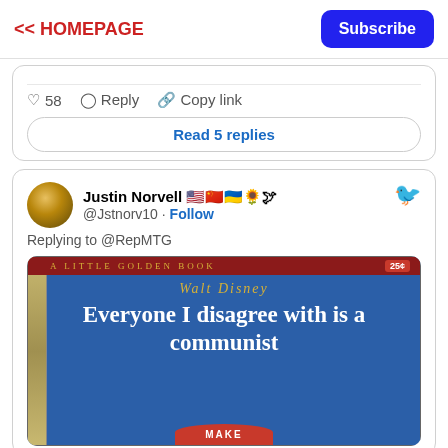<< HOMEPAGE | Subscribe
♡ 58   Reply   Copy link
Read 5 replies
Justin Norvell 🇺🇸🇹🇼🇺🇦🌻🕊 @Jstnorv10 · Follow
Replying to @RepMTG
[Figure (photo): Parody book cover styled as a Little Golden Book. Blue background. Top red bar reads 'A LITTLE GOLDEN BOOK' in gold letters with '25¢' price badge. 'Walt Disney' in gold italic text. Main title in white: 'Everyone I disagree with is a communist'. Red hat shape visible at bottom.]